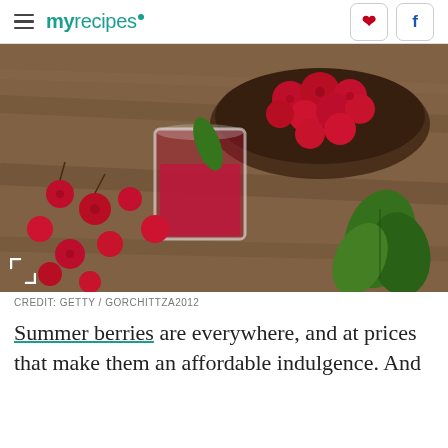myrecipes
[Figure (photo): Raspberries scattered on a wooden table with a glass of red raspberry drink and a bowl of raspberries and green leaves in the background]
CREDIT: GETTY / GORCHITTZA2012
Summer berries are everywhere, and at prices that make them an affordable indulgence. And